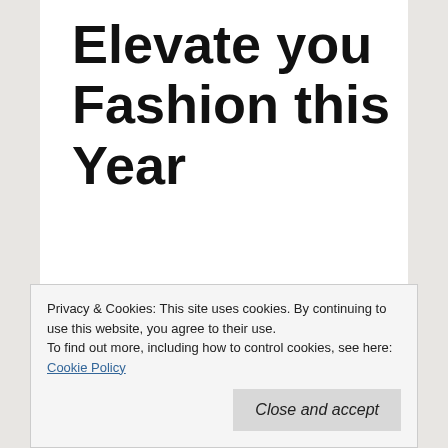Elevate you Fashion this Year
Fashion is forever changing from season to season. We may see repeats of fashion from previous decades but it's something that…
Privacy & Cookies: This site uses cookies. By continuing to use this website, you agree to their use.
To find out more, including how to control cookies, see here: Cookie Policy
Close and accept